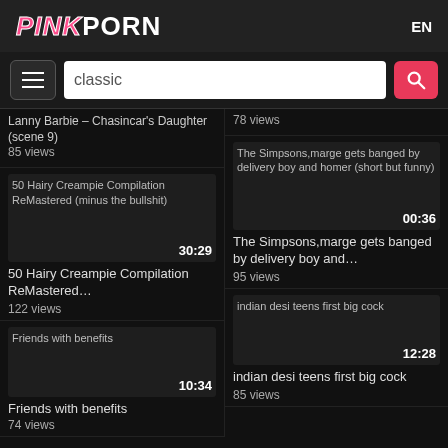PINKPORN  EN
classic (search input)
Lanny Barbie – Chasincar's Daughter (scene 9)
85 views
78 views
[Figure (screenshot): Video thumbnail for 50 Hairy Creampie Compilation ReMastered (minus the bullshit), duration 30:29]
50 Hairy Creampie Compilation ReMastered...
122 views
[Figure (screenshot): Video thumbnail for The Simpsons, marge gets banged by delivery boy and homer (short but funny), duration 00:36]
The Simpsons,marge gets banged by delivery boy and...
95 views
[Figure (screenshot): Video thumbnail for Friends with benefits, duration 10:34]
Friends with benefits
74 views
[Figure (screenshot): Video thumbnail for indian desi teens first big cock, duration 12:28]
indian desi teens first big cock
85 views